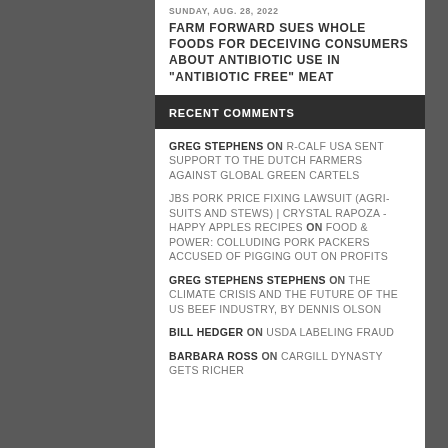SUNDAY, AUG. 28, 2022
FARM FORWARD SUES WHOLE FOODS FOR DECEIVING CONSUMERS ABOUT ANTIBIOTIC USE IN “ANTIBIOTIC FREE” MEAT
RECENT COMMENTS
GREG STEPHENS ON R-CALF USA SENT SUPPORT TO THE DUTCH FARMERS AGAINST GLOBAL GREEN CARTELS
JBS PORK PRICE FIXING LAWSUIT (AGRI-SUITS AND STEWS) | CRYSTAL RAPOZA - HAPPY APPLES RECIPES ON FOOD & POWER: COLLUDING PORK PACKERS ACCUSED OF PIGGING OUT ON PROFITS
GREG STEPHENS STEPHENS ON THE CLIMATE CRISIS AND THE FUTURE OF THE US BEEF INDUSTRY, BY DENNIS OLSON
BILL HEDGER ON USDA LABELING FRAUD
BARBARA ROSS ON CARGILL DYNASTY GETS RICHER